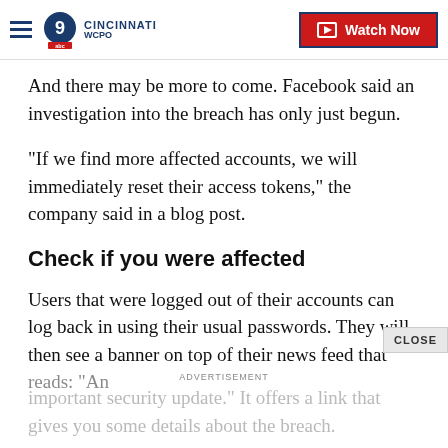WCPO 9 CINCINNATI — Watch Now
And there may be more to come. Facebook said an investigation into the breach has only just begun.
"If we find more affected accounts, we will immediately reset their access tokens," the company said in a blog post.
Check if you were affected
Users that were logged out of their accounts can log back in using their usual passwords. They will then see a banner on top of their news feed that reads: "An important security update." It offers a link that gives you some details about the breach.